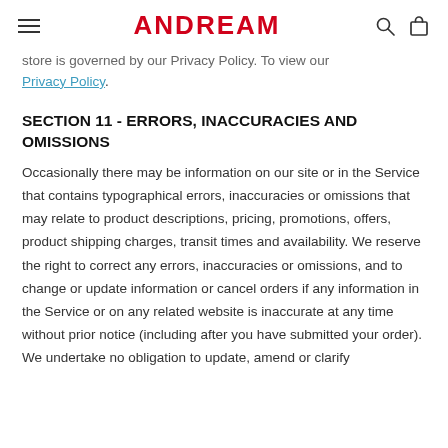ANDREAM
store is governed by our Privacy Policy. To view our Privacy Policy.
SECTION 11 - ERRORS, INACCURACIES AND OMISSIONS
Occasionally there may be information on our site or in the Service that contains typographical errors, inaccuracies or omissions that may relate to product descriptions, pricing, promotions, offers, product shipping charges, transit times and availability. We reserve the right to correct any errors, inaccuracies or omissions, and to change or update information or cancel orders if any information in the Service or on any related website is inaccurate at any time without prior notice (including after you have submitted your order). We undertake no obligation to update, amend or clarify